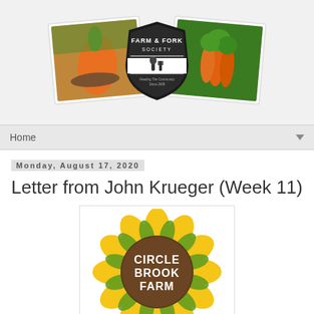[Figure (logo): Farm & Fork Society banner logo with two overlapping photo-style cards showing vegetables/carrots and a central shield badge reading 'Farm & Fork Society - Feeding The Community Since 2008']
[Figure (logo): Navigation bar with 'Home' text and dropdown arrow on right]
Monday, August 17, 2020
Letter from John Krueger (Week 11)
[Figure (logo): Circle Brook Farm sunflower logo: yellow sunflower petals with green leaves around a dark brown circular center containing white text 'CIRCLE BROOK FARM']